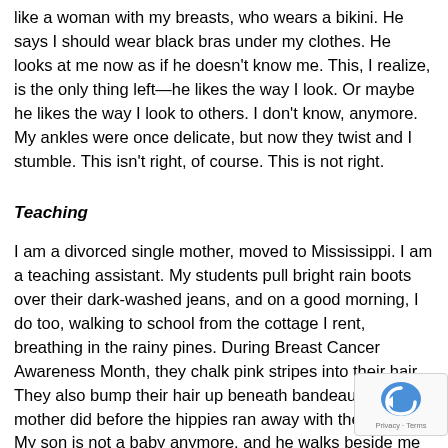like a woman with my breasts, who wears a bikini. He says I should wear black bras under my clothes. He looks at me now as if he doesn't know me. This, I realize, is the only thing left—he likes the way I look. Or maybe he likes the way I look to others. I don't know, anymore. My ankles were once delicate, but now they twist and I stumble. This isn't right, of course. This is not right.
Teaching
I am a divorced single mother, moved to Mississippi. I am a teaching assistant. My students pull bright rain boots over their dark-washed jeans, and on a good morning, I do too, walking to school from the cottage I rent, breathing in the rainy pines. During Breast Cancer Awareness Month, they chalk pink stripes into their hair. They also bump their hair up beneath bandeaus, like my mother did before the hippies ran away with the sixties. My son is not a baby anymore, and he walks beside me in his button-down shirts. I am wearing a button-down oxford shirt, with either a straight gray or brown skirt. In winter, my grandmother's camel coat, buttons replaced. Beneath that coat, my own sweet rain boots, in the style of Holly Hobby. I bought them at Target and they are my favorite shoes: tiny flowers twist and wind